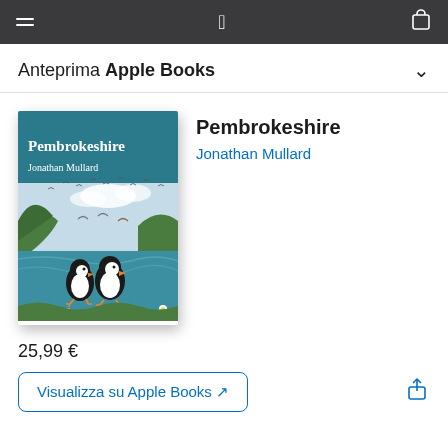Anteprima Apple Books
[Figure (illustration): Book cover of 'Pembrokeshire' by Jonathan Mullard, featuring illustrated puffins, seabirds, green cliffs, sea, and wildflowers.]
Pembrokeshire
Jonathan Mullard
25,99 €
Visualizza su Apple Books ↗